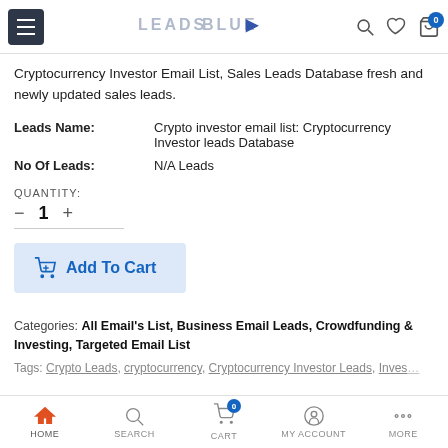LEADSBLUE (logo with navigation icons)
Cryptocurrency Investor Email List, Sales Leads Database fresh and newly updated sales leads.
| Leads Name: | Crypto investor email list: Cryptocurrency Investor leads Database |
| No Of Leads: | N/A Leads |
QUANTITY: — 1 +
[Figure (screenshot): Add To Cart button with shopping cart icon, light blue background]
Categories: All Email's List, Business Email Leads, Crowdfunding & Investing, Targeted Email List
Tags: Crypto Leads, cryptocurrency, Cryptocurrency Investor Leads, Investing
HOME | SEARCH | CART (0) | MY ACCOUNT | MORE